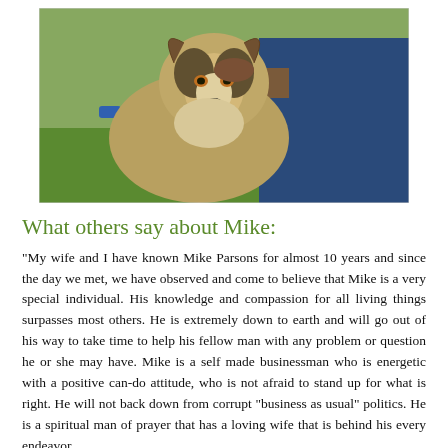[Figure (photo): A wolf-dog or husky-type dog with tongue out, being petted by a person wearing blue jeans, outdoors on green grass.]
What others say about Mike:
“My wife and I have known Mike Parsons for almost 10 years and since the day we met, we have observed and come to believe that Mike is a very special individual.  His knowledge and compassion for all living things surpasses most others.  He is extremely down to earth and will go out of his way to take time to help his fellow man with any problem or question he or she may have.  Mike is a self made businessman who is energetic with a positive can-do attitude, who is not afraid to stand up for what is right.  He will not back down from corrupt “business as usual” politics.  He is a spiritual man of prayer that has a loving wife that is behind his every endeavor.